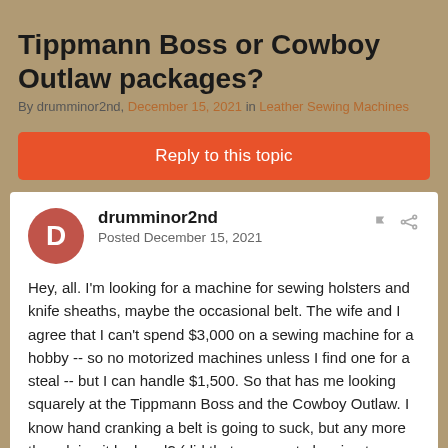Tippmann Boss or Cowboy Outlaw packages?
By drumminor2nd, December 15, 2021 in Leather Sewing Machines
Reply to this topic
drumminor2nd
Posted December 15, 2021
Hey, all. I'm looking for a machine for sewing holsters and knife sheaths, maybe the occasional belt. The wife and I agree that I can't spend $3,000 on a sewing machine for a hobby -- so no motorized machines unless I find one for a steal -- but I can handle $1,500. So that has me looking squarely at the Tippmann Boss and the Cowboy Outlaw. I know hand cranking a belt is going to suck, but any more than doing it by hand? (did that once, not planning to repeat it). I figure if I ever get going making things for money I can sell/trade in whatever I buy toward an electric later on.
It looks like they both sew about the same thicknesses, use similar